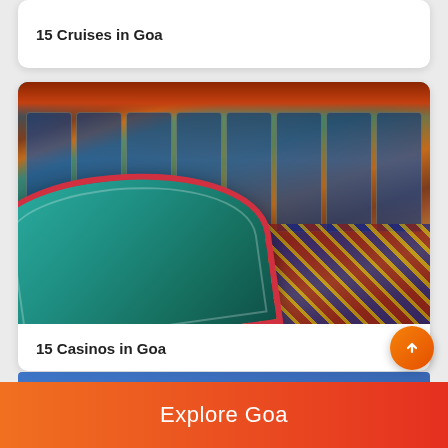15 Cruises in Goa
[Figure (photo): Interior of a casino with a teal/green craps table in the foreground with a red border, slot machines in the background, ornate ceiling with warm lighting, and a patterned carpet with blue and gold diagonal squares]
15 Casinos in Goa
Explore Goa